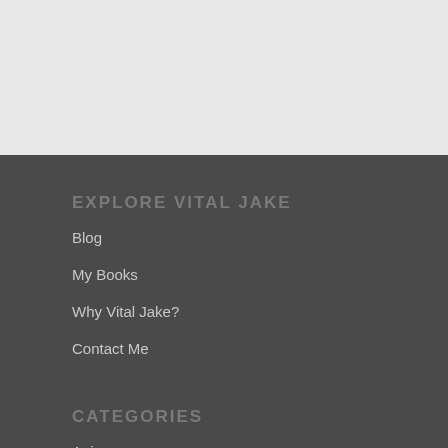EXPLORE VITAL JAKE
Blog
My Books
Why Vital Jake?
Contact Me
CATEGORIES
Aging